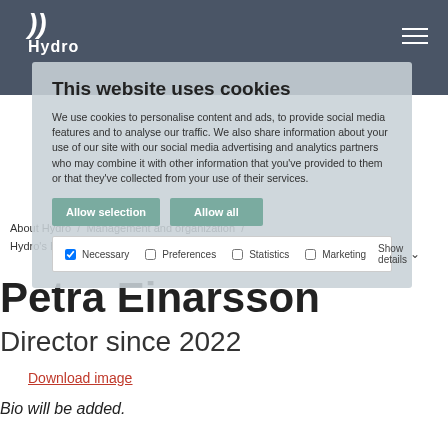Hydro
[Figure (screenshot): Cookie consent overlay dialog on the Hydro website, showing title 'This website uses cookies', explanatory text, 'Allow selection' and 'Allow all' buttons, and checkboxes for Necessary, Preferences, Statistics, Marketing with Show details dropdown.]
About Hydro / Management and organization / Hydro's Board of Directors / Petra Einarsson
Petra Einarsson
Director since 2022
Download image
Bio will be added.